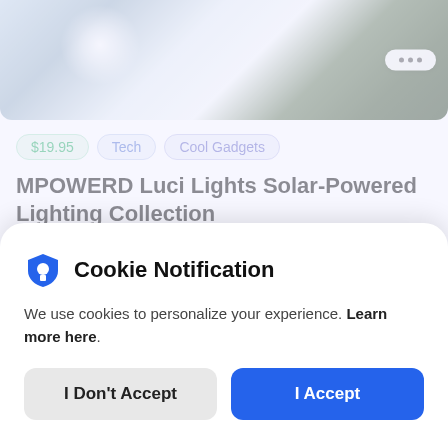[Figure (photo): Top banner photo showing sunlight and trees with a snow/nature scene, with a three-dots menu button on the right.]
$19.95  Tech  Cool Gadgets
MPOWERD Luci Lights Solar-Powered Lighting Collection
1 month ago by Genevieve
[Figure (photo): Partial photo showing a teal/blue device with a red indicator and black background.]
Cookie Notification
We use cookies to personalize your experience. Learn more here.
I Don't Accept
I Accept